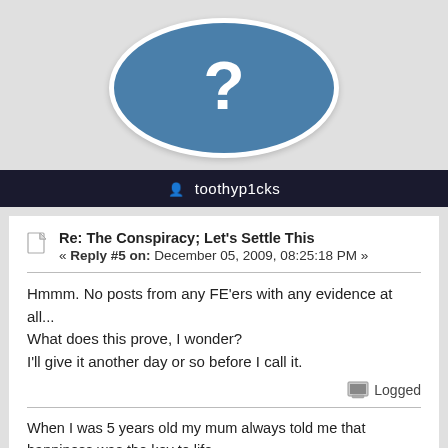[Figure (illustration): Blue oval avatar with white question mark, centered on grey background]
toothyp1cks
Re: The Conspiracy; Let's Settle This
« Reply #5 on: December 05, 2009, 08:25:18 PM »
Hmmm. No posts from any FE'ers with any evidence at all...
What does this prove, I wonder?
I'll give it another day or so before I call it.
Logged
When I was 5 years old my mum always told me that happiness was the key to life.
When I went to school they asked me what I wanted to be when I grew up.